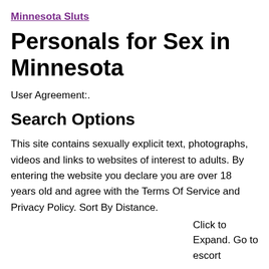Minnesota Sluts
Personals for Sex in Minnesota
User Agreement:.
Search Options
This site contains sexually explicit text, photographs, videos and links to websites of interest to adults. By entering the website you declare you are over 18 years old and agree with the Terms Of Service and Privacy Policy. Sort By Distance.
Click to Expand. Go to escort